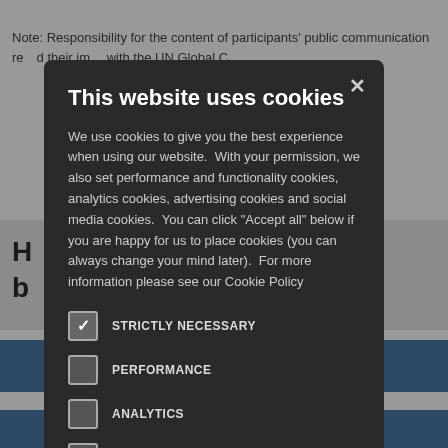Note: Responsibility for the content of participants' public communication re…d their im… with the UN Global C…
H… ough b…
[Figure (screenshot): Cookie consent modal overlay on a webpage. Dark modal with title 'This website uses cookies', body text explaining cookie usage, and checkboxes for: STRICTLY NECESSARY (checked), PERFORMANCE (unchecked), ANALYTICS (unchecked), FUNCTIONALITY (unchecked), SOCIAL MEDIA (unchecked). Close button (X) in top-right corner.]